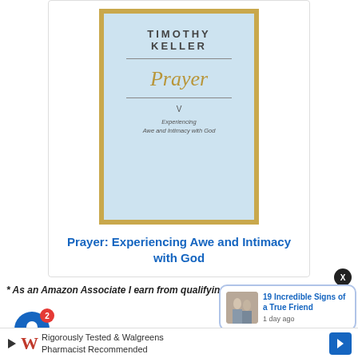[Figure (photo): Book cover for 'Prayer: Experiencing Awe and Intimacy with God' by Timothy Keller, light blue cover with gold border]
Prayer: Experiencing Awe and Intimacy with God
* As an Amazon Associate I earn from qualifying purchases.
[Figure (screenshot): Notification popup showing '19 Incredible Signs of a True Friend' with a photo of three women and '1 day ago' timestamp]
[Figure (screenshot): Ad bar: Walgreens logo with text 'Rigorously Tested & Walgreens Pharmacist Recommended']